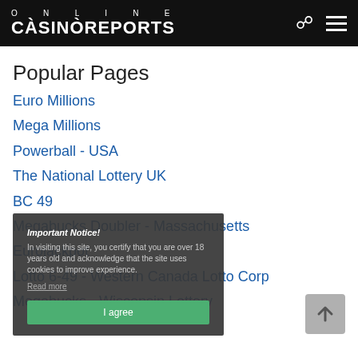ONLINE CASINOREPORTS
Popular Pages
Euro Millions
Mega Millions
Powerball - USA
The National Lottery UK
BC 49
Megabucks Doubler - Massachusetts
Eurojackpot
Lotto 6-49 - Western Canada Lotto Corp
Megabucks - Wisconsin Lottery
Important Notice! In visiting this site, you certify that you are over 18 years old and acknowledge that the site uses cookies to improve experience. Read more I agree